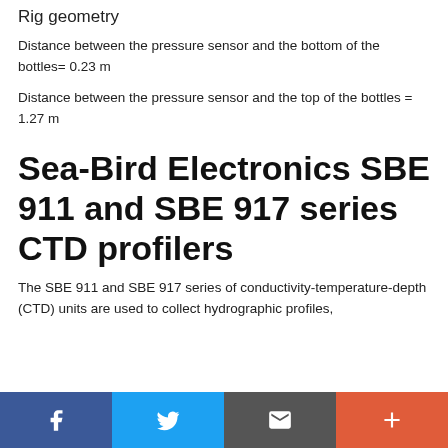Rig geometry
Distance between the pressure sensor and the bottom of the bottles= 0.23 m
Distance between the pressure sensor and the top of the bottles = 1.27 m
Sea-Bird Electronics SBE 911 and SBE 917 series CTD profilers
The SBE 911 and SBE 917 series of conductivity-temperature-depth (CTD) units are used to collect hydrographic profiles,
Social share bar: Facebook, Twitter, Email, Plus